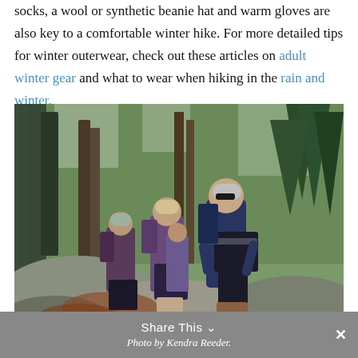socks, a wool or synthetic beanie hat and warm gloves are also key to a comfortable winter hike. For more detailed tips for winter outerwear, check out these articles on adult winter gear and what to wear when hiking in the rain and winter.
[Figure (photo): Three women hiking on rocky terrain in a forest during autumn/winter. They are wearing winter hiking gear including hats, jackets, and boots. The leader is in a navy blue jacket with sunglasses and a grey beanie. The trail has large rocks and bare/pine trees in the background.]
Photo by Kendra Reeder.
Share This